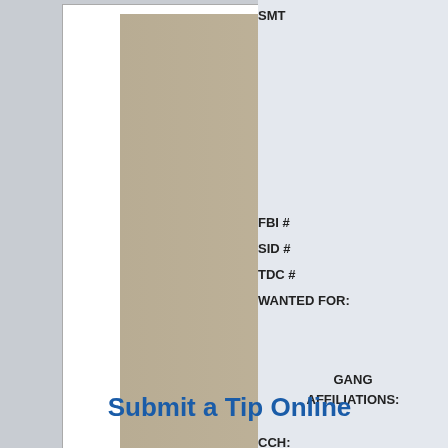[Figure (photo): Main mugshot photo of a young male with blonde hair, facial tattoos on forehead, wearing a white shirt and necklace]
[Figure (photo): Row of five smaller mugshot photos of the same individual at different times]
SMT
FBI #
SID #
TDC #
WANTED FOR:
GANG AFFILIATIONS:
CCH:
LKA:
LKC:
CAUTION:
Submit a Tip Online